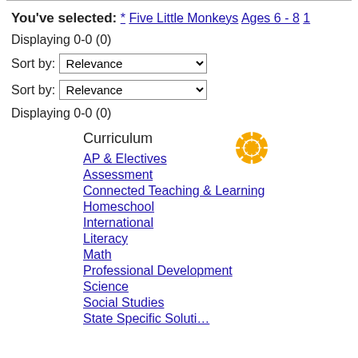You've selected: * Five Little Monkeys Ages 6 - 8 1
Displaying 0-0 (0)
Sort by: Relevance
Sort by: Relevance
Displaying 0-0 (0)
Curriculum
[Figure (illustration): Orange/yellow sunburst or loading spinner icon]
AP & Electives
Assessment
Connected Teaching & Learning
Homeschool
International
Literacy
Math
Professional Development
Science
Social Studies
State Specific Solutions